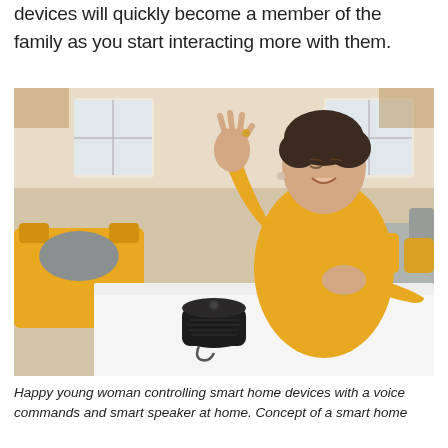devices will quickly become a member of the family as you start interacting more with them.
[Figure (photo): Happy young woman in yellow top sitting at a white table, smiling with eyes closed and one hand raised, interacting with a small black smart speaker/voice assistant device on the table. Modern living room interior in background with yellow and gray sofas.]
Happy young woman controlling smart home devices with a voice commands and smart speaker at home. Concept of a smart home